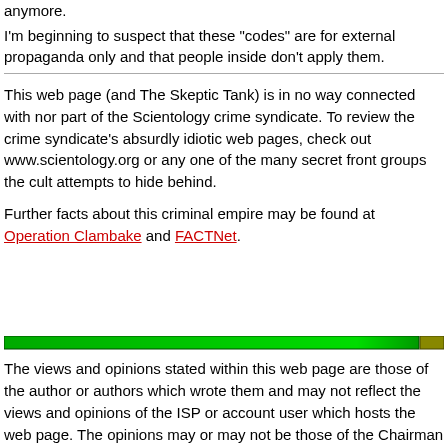anymore.
I'm beginning to suspect that these "codes" are for external propaganda only and that people inside don't apply them.
This web page (and The Skeptic Tank) is in no way connected with nor part of the Scientology crime syndicate. To review the crime syndicate's absurdly idiotic web pages, check out www.scientology.org or any one of the many secret front groups the cult attempts to hide behind.
Further facts about this criminal empire may be found at Operation Clambake and FACTNet.
[Figure (other): Green horizontal bar divider]
The views and opinions stated within this web page are those of the author or authors which wrote them and may not reflect the views and opinions of the ISP or account user which hosts the web page. The opinions may or may not be those of the Chairman of